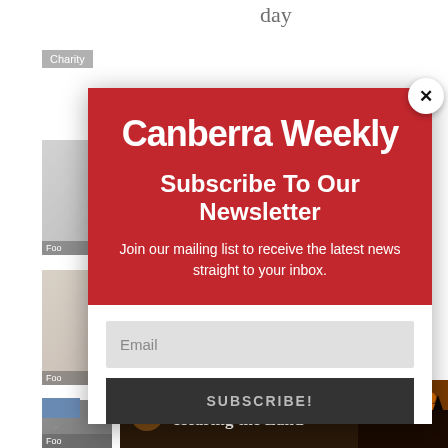day
Charity
Food
Food
Food
[Figure (screenshot): Canberra Weekly newsletter subscription modal popup over a website background. Red header with white Canberra Weekly logo, Subscribe To Our Newsletter heading, description text, email input field and SUBSCRIBE! button.]
Canberra Weekly
Subscribe To Our Newsletter
Join our mailing list to receive the latest news straight to your inbox.
Email
SUBSCRIBE!
[Figure (infographic): Bottom banner ad for '1 September 2022 Hearing the Land' event with dark brown background and orange silhouette figures on the right.]